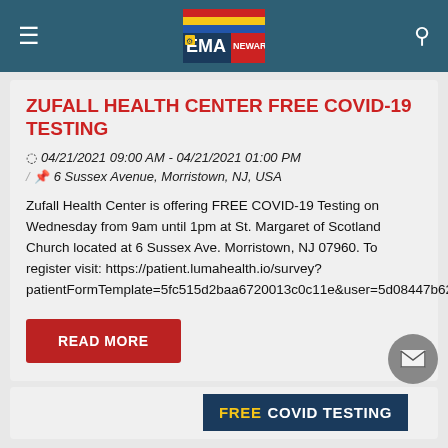Newark EMA header with logo, hamburger menu, and search icon
ZUFALL HEALTH CENTER FREE COVID-19 TESTING
04/21/2021 09:00 AM - 04/21/2021 01:00 PM
6 Sussex Avenue, Morristown, NJ, USA
Zufall Health Center is offering FREE COVID-19 Testing on Wednesday from 9am until 1pm at St. Margaret of Scotland Church located at 6 Sussex Ave. Morristown, NJ 07960. To register visit: https://patient.lumahealth.io/survey?patientFormTemplate=5fc515d2baa6720013c0c11e&user=5d08447b626bcb02216c0254
READ MORE
FREE COVID TESTING